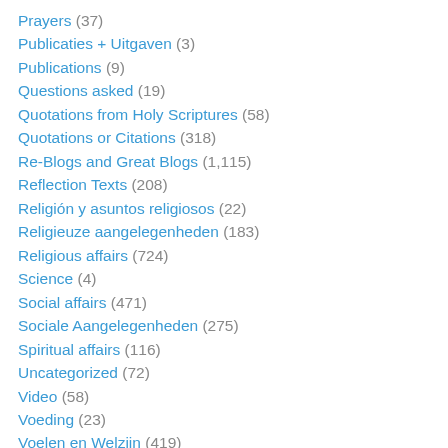Prayers (37)
Publicaties + Uitgaven (3)
Publications (9)
Questions asked (19)
Quotations from Holy Scriptures (58)
Quotations or Citations (318)
Re-Blogs and Great Blogs (1,115)
Reflection Texts (208)
Religión y asuntos religiosos (22)
Religieuze aangelegenheden (183)
Religious affairs (724)
Science (4)
Social affairs (471)
Sociale Aangelegenheden (275)
Spiritual affairs (116)
Uncategorized (72)
Video (58)
Voeding (23)
Voelen en Welzijn (419)
Vragen van lezers (24)